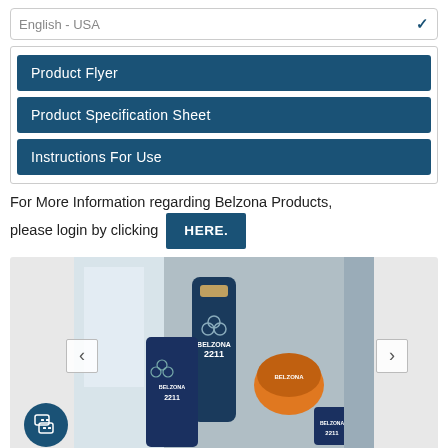[Figure (screenshot): Dropdown selector showing 'English - USA']
Product Flyer
Product Specification Sheet
Instructions For Use
For More Information regarding Belzona Products, please login by clicking HERE.
[Figure (photo): Belzona 2211 product cans and containers displayed together, including spray can and tins with Belzona branding, with navigation arrows for a slideshow and a chat button overlay.]